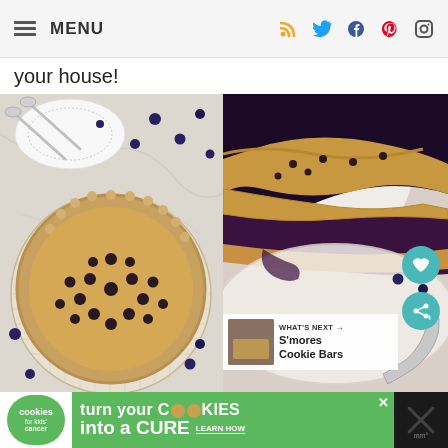MENU | social icons: RSS, Twitter, Facebook, Pinterest, Instagram
your house!
[Figure (photo): Top-down view of a blueberry pie with round hole-patterned crust on a cooling rack, scattered blueberries on marble surface, white plates and spoons]
[Figure (photo): Close-up of a sliced blueberry pie showing golden crimped crust and dark blueberry filling, with spoon and scattered blueberries]
WHAT'S NEXT → S'mores Cookie Bars
[Figure (photo): Advertisement banner: cookies for kids cancer - turn your cookies into a CURE - LEARN HOW]